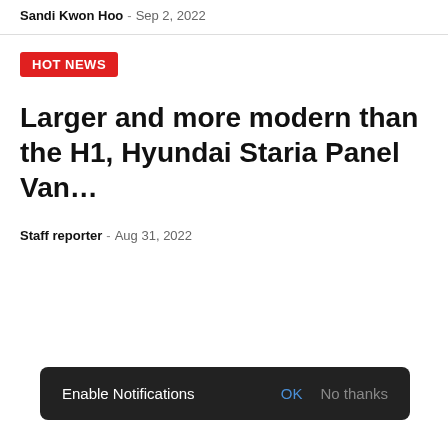Sandi Kwon Hoo - Sep 2, 2022
HOT NEWS
Larger and more modern than the H1, Hyundai Staria Panel Van…
Staff reporter - Aug 31, 2022
Enable Notifications OK No thanks